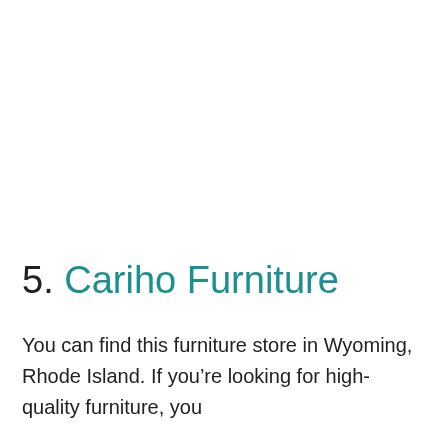5. Cariho Furniture
You can find this furniture store in Wyoming, Rhode Island. If you’re looking for high-quality furniture, you